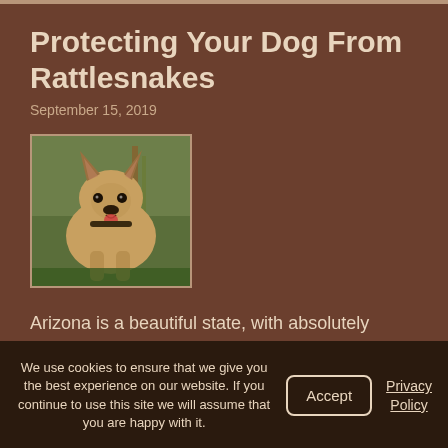Protecting Your Dog From Rattlesnakes
September 15, 2019
[Figure (photo): A dog (Norwegian Elkhound type, tan/gray fur) sitting outdoors in nature with plants in background]
Arizona is a beautiful state, with absolutely breathtaking landscapes. However, not all the denizens of our lovely state are friendly. Some, such as rattlesnakes, can pose a deadly threat to … Read More »
Posted in Dog Care, General Care, General Health|
We use cookies to ensure that we give you the best experience on our website. If you continue to use this site we will assume that you are happy with it.